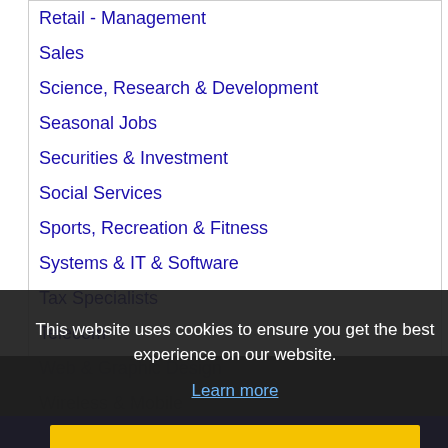Retail - Management
Sales
Science, Research & Development
Seasonal Jobs
Securities & Investment
Social Services
Sports, Recreation & Fitness
Systems & IT & Software
Tax Specialists
Telecom
Web & Graphic Design
Wireless & Mobile
Work From Home
This website uses cookies to ensure you get the best experience on our website.
Learn more
Got it!
© 2023 Recruiter Media Corporation · All rights reserved